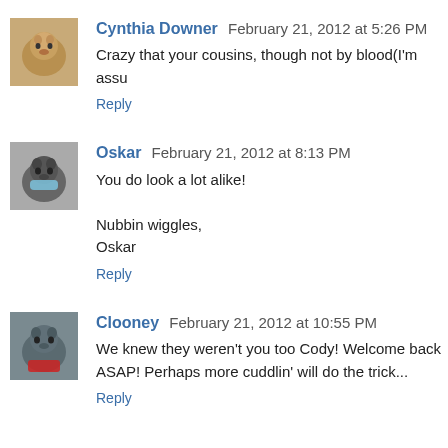Cynthia Downer February 21, 2012 at 5:26 PM
Crazy that your cousins, though not by blood(I'm assu
Reply
Oskar February 21, 2012 at 8:13 PM
You do look a lot alike!

Nubbin wiggles,
Oskar
Reply
Clooney February 21, 2012 at 10:55 PM
We knew they weren't you too Cody! Welcome back ASAP! Perhaps more cuddlin' will do the trick...
Reply